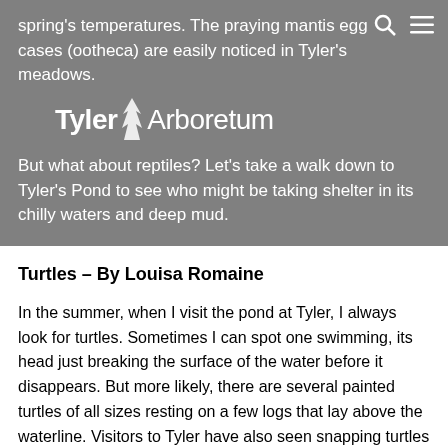spring's temperatures. The praying mantis egg cases (ootheca) are easily noticed in Tyler's meadows.
[Figure (logo): Tyler Arboretum logo with tree icon, white text on gray background]
But what about reptiles? Let's take a walk down to Tyler's Pond to see who might be taking shelter in its chilly waters and deep mud.
Turtles – By Louisa Romaine
In the summer, when I visit the pond at Tyler, I always look for turtles. Sometimes I can spot one swimming, its head just breaking the surface of the water before it disappears. But more likely, there are several painted turtles of all sizes resting on a few logs that lay above the waterline. Visitors to Tyler have also seen snapping turtles and red-eared sliders (not native to our area) in the pond. As the weather turns colder, the turtles are nowhere to be seen. It turns out that turtles have ingenious ways of coping with the cold.